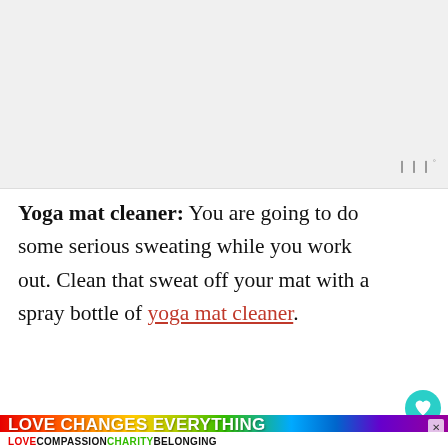[Figure (screenshot): Gray top bar area of a webpage]
Yoga mat cleaner: You are going to do some serious sweating while you work out. Clean that sweat off your mat with a spray bottle of yoga mat cleaner.
[Figure (photo): Photo of a person in yoga pose with hands pressed together, with a 'What's Next - Fun Gift Ideas for Teen Girls' overlay in the top right corner]
[Figure (screenshot): Advertisement banner with rainbow gradient background reading 'LOVE CHANGES EVERYTHING' with 'LOVE COMPASSION CHARITY BELONGING' below in colored text]